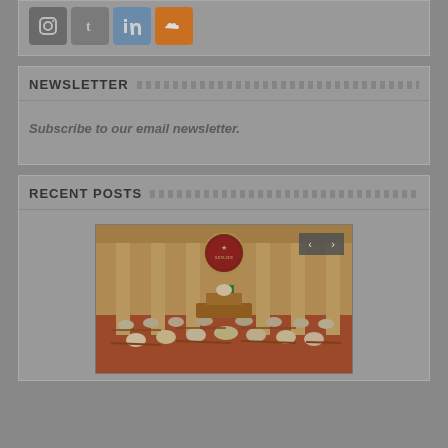[Figure (other): Social media icons: Instagram, Tumblr, LinkedIn, SoundCloud]
NEWSLETTER
Subscribe to our email newsletter.
RECENT POSTS
[Figure (photo): Photo of a government legislative chamber/parliament session with people seated in rows, a national emblem seal visible at the top center, and navigation arrows (< >) in the top right corner.]